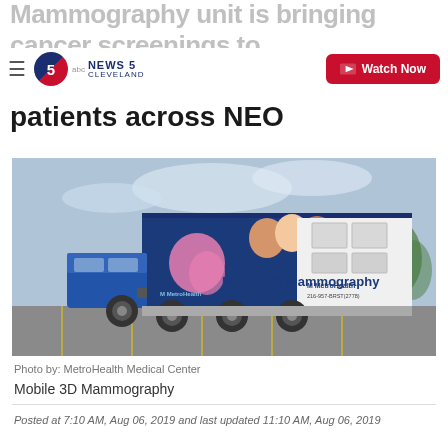News 5 Cleveland — Watch Now
Mammography unit is bringing cancer screenings to patients across NEO
[Figure (photo): MetroHealth Medical Center Mobile 3D Mammography truck parked in a parking lot, with a pink ribbon and images of women on the side.]
Photo by: MetroHealth Medical Center
Mobile 3D Mammography
Posted at 7:10 AM, Aug 06, 2019 and last updated 11:10 AM, Aug 06, 2019